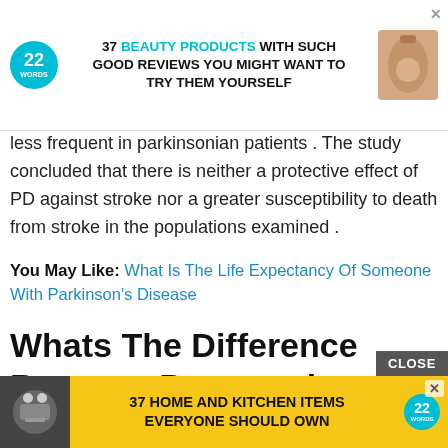[Figure (screenshot): Advertisement banner: 37 BEAUTY PRODUCTS WITH SUCH GOOD REVIEWS YOU MIGHT WANT TO TRY THEM YOURSELF, with 22 Words logo and product image]
less frequent in parkinsonian patients . The study concluded that there is neither a protective effect of PD against stroke nor a greater susceptibility to death from stroke in the populations examined .
You May Like: What Is The Life Expectancy Of Someone With Parkinson's Disease
Whats The Difference Between Progressive Supranuclear Palsy And Parkinsons
People ... people with Pa... an
[Figure (screenshot): Advertisement banner: 37 HOME AND KITCHEN ITEMS EVERYONE SHOULD OWN, with 22 Words logo and food image on yellow background]